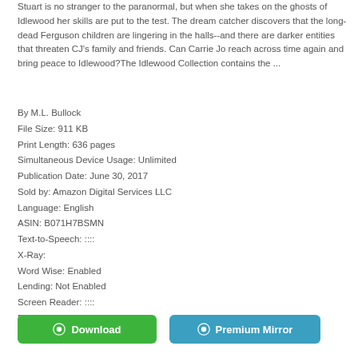Stuart is no stranger to the paranormal, but when she takes on the ghosts of Idlewood her skills are put to the test. The dream catcher discovers that the long-dead Ferguson children are lingering in the halls--and there are darker entities that threaten CJ's family and friends. Can Carrie Jo reach across time again and bring peace to Idlewood?The Idlewood Collection contains the ...
By M.L. Bullock
File Size: 911 KB
Print Length: 636 pages
Simultaneous Device Usage: Unlimited
Publication Date: June 30, 2017
Sold by: Amazon Digital Services LLC
Language: English
ASIN: B071H7BSMN
Text-to-Speech: ::::
X-Ray:
Word Wise: Enabled
Lending: Not Enabled
Screen Reader: ::::
Format: PDF ePub djvu ebook
[Figure (other): Two buttons: a green Download button and a teal Premium Mirror button, each with a circular icon on the left.]